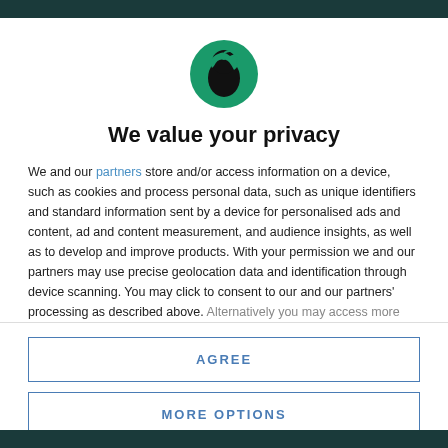[Figure (logo): Circular green logo with a black silhouette of a helmeted figure (knight or warrior) facing left]
We value your privacy
We and our partners store and/or access information on a device, such as cookies and process personal data, such as unique identifiers and standard information sent by a device for personalised ads and content, ad and content measurement, and audience insights, as well as to develop and improve products. With your permission we and our partners may use precise geolocation data and identification through device scanning. You may click to consent to our and our partners' processing as described above. Alternatively you may access more
AGREE
MORE OPTIONS